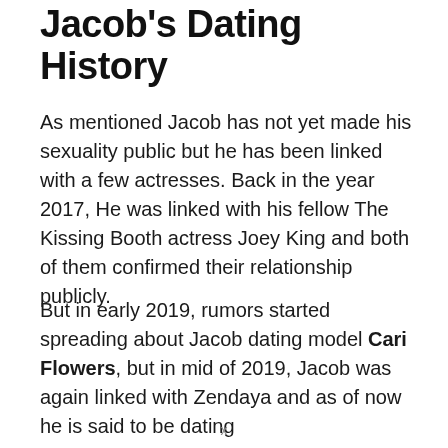Jacob's Dating History
As mentioned Jacob has not yet made his sexuality public but he has been linked with a few actresses. Back in the year 2017, He was linked with his fellow The Kissing Booth actress Joey King and both of them confirmed their relationship publicly.
But in early 2019, rumors started spreading about Jacob dating model Cari Flowers, but in mid of 2019, Jacob was again linked with Zendaya and as of now he is said to be dating
x